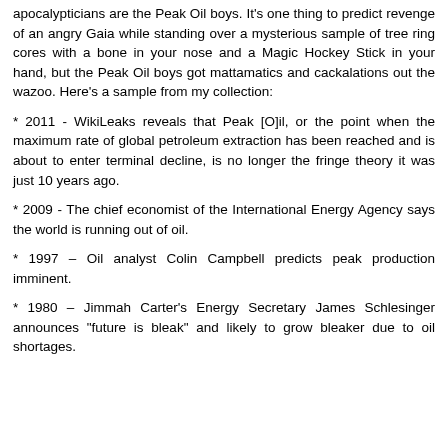apocalypticians are the Peak Oil boys. It's one thing to predict revenge of an angry Gaia while standing over a mysterious sample of tree ring cores with a bone in your nose and a Magic Hockey Stick in your hand, but the Peak Oil boys got mattamatics and cackalations out the wazoo. Here's a sample from my collection:
* 2011 - WikiLeaks reveals that Peak [O]il, or the point when the maximum rate of global petroleum extraction has been reached and is about to enter terminal decline, is no longer the fringe theory it was just 10 years ago.
* 2009 - The chief economist of the International Energy Agency says the world is running out of oil.
* 1997 – Oil analyst Colin Campbell predicts peak production imminent.
* 1980 – Jimmah Carter's Energy Secretary James Schlesinger announces "future is bleak" and likely to grow bleaker due to oil shortages.